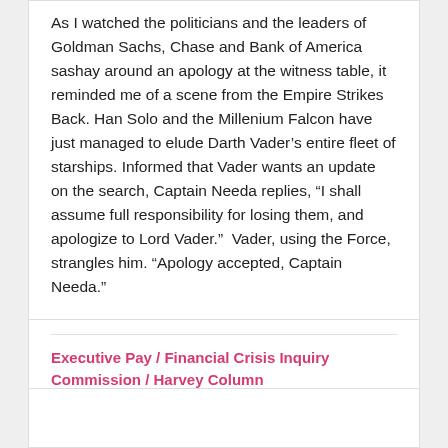As I watched the politicians and the leaders of Goldman Sachs, Chase and Bank of America sashay around an apology at the witness table, it reminded me of a scene from the Empire Strikes Back. Han Solo and the Millenium Falcon have just managed to elude Darth Vader's entire fleet of starships. Informed that Vader wants an update on the search, Captain Needa replies, “I shall assume full responsibility for losing them, and apologize to Lord Vader.”  Vader, using the Force, strangles him. “Apology accepted, Captain Needa.”
Executive Pay / Financial Crisis Inquiry Commission / Harvey Column
- 01/18/2010